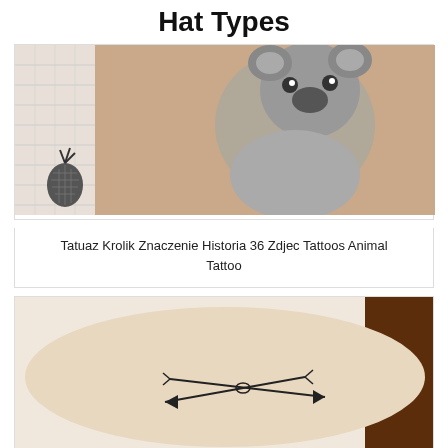Hat Types
[Figure (photo): Close-up photo of a koala tattoo on skin, with a smaller pineapple tattoo visible on the left side. Black and grey detailed animal tattoo artwork.]
Tatuaz Krolik Znaczenie Historia 36 Zdjec Tattoos Animal Tattoo
[Figure (photo): Photo of a tattoo on an arm showing two crossed arrows with arrowheads pointing in opposite directions, minimalist line work tattoo on pale skin.]